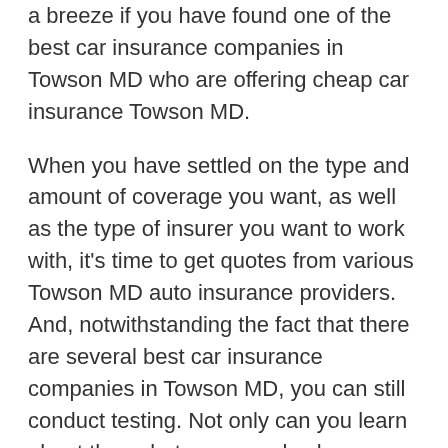a breeze if you have found one of the best car insurance companies in Towson MD who are offering cheap car insurance Towson MD.
When you have settled on the type and amount of coverage you want, as well as the type of insurer you want to work with, it's time to get quotes from various Towson MD auto insurance providers. And, notwithstanding the fact that there are several best car insurance companies in Towson MD, you can still conduct testing. Not only can you learn about them, but you can also learn about the premiums that their new clients are receiving. So that you can get one of their affordable car insurance quotes Towson MD. Comparing car Towson MD car insurance companies gives you peace of mind and trust in the scheme you want.
Best auto insurance companies in Towson MD, have different prices, and it fluctuates a lot. Although auto insurance covers both you and your car, it should not deplete your bank account. When looking for Towson MD auto insurance providers, there